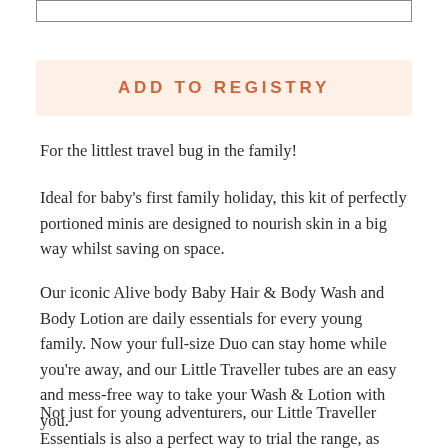[Figure (other): Empty rectangular box at top of page]
ADD TO REGISTRY
For the littlest travel bug in the family!
Ideal for baby's first family holiday, this kit of perfectly portioned minis are designed to nourish skin in a big way whilst saving on space.
Our iconic Alive body Baby Hair & Body Wash and Body Lotion are daily essentials for every young family. Now your full-size Duo can stay home while you're away, and our Little Traveller tubes are an easy and mess-free way to take your Wash & Lotion with you.
Not just for young adventurers, our Little Traveller Essentials is also a perfect way to trial the range, as well